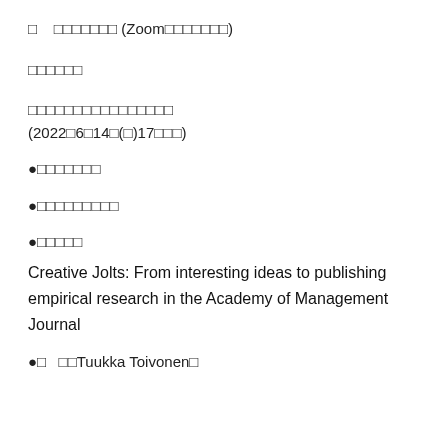□　□□□□□□ (Zoom□□□□□□□)
□□□□□□
□□□□□□□□□□□□□□□□
(2022□6□14□(□)17□□□)
●□□□□□□□
●□□□□□□□□□
●□□□□□
Creative Jolts: From interesting ideas to publishing empirical research in the Academy of Management Journal
●□　□□Tuukka Toivonen□